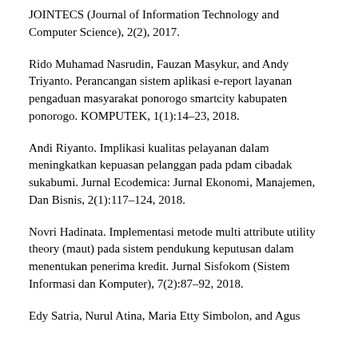JOINTECS (Journal of Information Technology and Computer Science), 2(2), 2017.
Rido Muhamad Nasrudin, Fauzan Masykur, and Andy Triyanto. Perancangan sistem aplikasi e-report layanan pengaduan masyarakat ponorogo smartcity kabupaten ponorogo. KOMPUTEK, 1(1):14–23, 2018.
Andi Riyanto. Implikasi kualitas pelayanan dalam meningkatkan kepuasan pelanggan pada pdam cibadak sukabumi. Jurnal Ecodemica: Jurnal Ekonomi, Manajemen, Dan Bisnis, 2(1):117–124, 2018.
Novri Hadinata. Implementasi metode multi attribute utility theory (maut) pada sistem pendukung keputusan dalam menentukan penerima kredit. Jurnal Sisfokom (Sistem Informasi dan Komputer), 7(2):87–92, 2018.
Edy Satria, Nurul Atina, Maria Etty Simbolon, and Agus